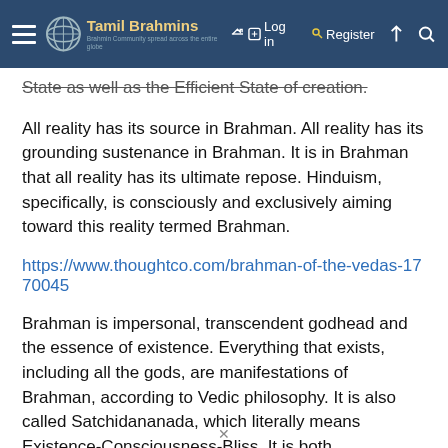Tamil Brahmins | Log in | Register
State as well as the Efficient State of creation.
All reality has its source in Brahman. All reality has its grounding sustenance in Brahman. It is in Brahman that all reality has its ultimate repose. Hinduism, specifically, is consciously and exclusively aiming toward this reality termed Brahman.
https://www.thoughtco.com/brahman-of-the-vedas-1770045
Brahman is impersonal, transcendent godhead and the essence of existence. Everything that exists, including all the gods, are manifestations of Brahman, according to Vedic philosophy. It is also called Satchidananada, which literally means Existence-Consciousness-Bliss. It is both transcendent but not separate from creation. It is not a creator, it is creation. The Judeo-